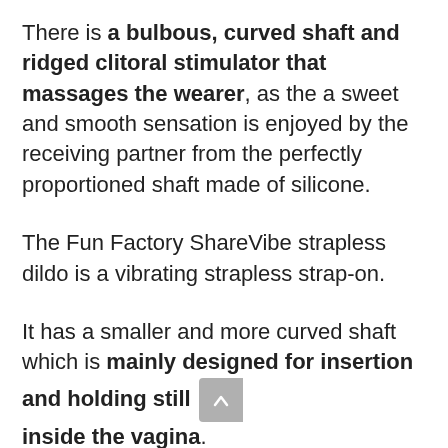There is a bulbous, curved shaft and ridged clitoral stimulator that massages the wearer, as the a sweet and smooth sensation is enjoyed by the receiving partner from the perfectly proportioned shaft made of silicone.
The Fun Factory ShareVibe strapless dildo is a vibrating strapless strap-on.
It has a smaller and more curved shaft which is mainly designed for insertion and holding still inside the vagina.
Once the smaller part is inserted into the vagina, the longer part which has a thinner